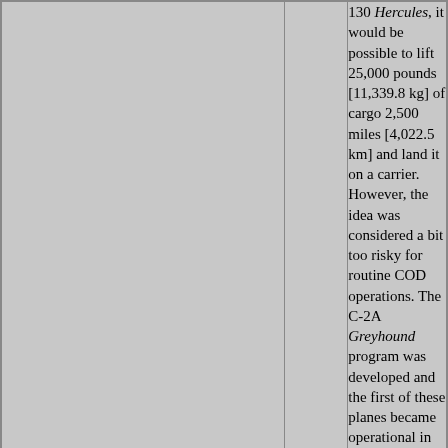130 Hercules, it would be possible to lift 25,000 pounds [11,339.8 kg] of cargo 2,500 miles [4,022.5 km] and land it on a carrier. However, the idea was considered a bit too risky for routine COD operations. The C-2A Greyhound program was developed and the first of these planes became operational in 1965. For his effort, the Navy awarded LT Flatley the Distinguished Flying Cross."
[Figure (photo): Group of crew/personnel standing in front of aircraft numbered 149798 (marked 798 on nose). Blue border frame.]
NS025982a
60k
The plane was a USMC KC-130F Hercules, BuNo 149798, at the time assigned to VR-1 squadron. In 2005 it was donated to the National Museum of Naval Aviation, Pensacola, FL.
[Figure (photo): Partially visible photo at bottom of page, appears to show aircraft on carrier deck.]
The first test took place on October 30 near